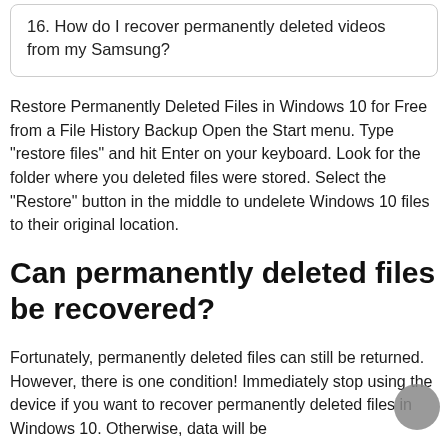16. How do I recover permanently deleted videos from my Samsung?
Restore Permanently Deleted Files in Windows 10 for Free from a File History Backup Open the Start menu. Type "restore files" and hit Enter on your keyboard. Look for the folder where you deleted files were stored. Select the "Restore" button in the middle to undelete Windows 10 files to their original location.
Can permanently deleted files be recovered?
Fortunately, permanently deleted files can still be returned. However, there is one condition! Immediately stop using the device if you want to recover permanently deleted files in Windows 10. Otherwise, data will be